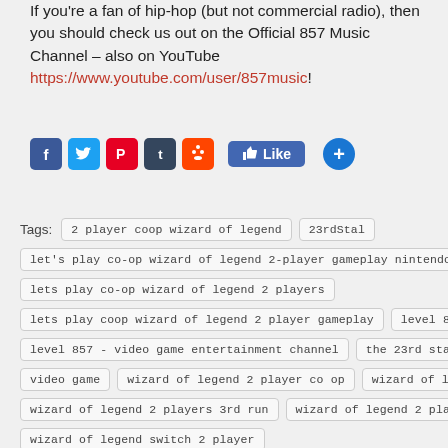If you're a fan of hip-hop (but not commercial radio), then you should check us out on the Official 857 Music Channel – also on YouTube https://www.youtube.com/user/857music!
[Figure (infographic): Social media sharing buttons: Facebook, Twitter, Pinterest, Tumblr, Reddit, Like button, and a plus/share button]
Tags: 2 player coop wizard of legend, 23rdStal, let's play co-op wizard of legend 2-player gameplay nintendo switch, lets play co-op wizard of legend 2 players, lets play coop wizard of legend 2 player gameplay, level 857, level 857 - video game entertainment channel, the 23rd stallion, turbo857, video game, wizard of legend 2 player co op, wizard of legend 2 player coop, wizard of legend 2 players 3rd run, wizard of legend 2 players nintendo switch, wizard of legend switch 2 player